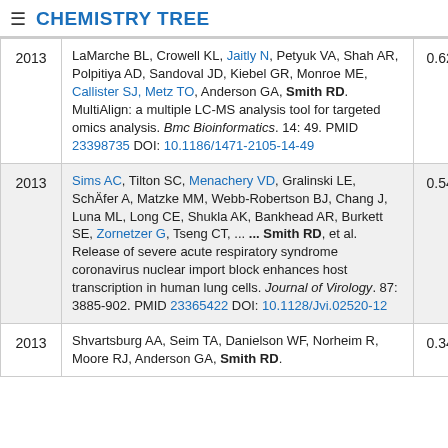≡ CHEMISTRY TREE
| Year | Reference | Score |  |
| --- | --- | --- | --- |
| 2013 | LaMarche BL, Crowell KL, Jaitly N, Petyuk VA, Shah AR, Polpitiya AD, Sandoval JD, Kiebel GR, Monroe ME, Callister SJ, Metz TO, Anderson GA, Smith RD. MultiAlign: a multiple LC-MS analysis tool for targeted omics analysis. Bmc Bioinformatics. 14: 49. PMID 23398735 DOI: 10.1186/1471-2105-14-49 | 0.629 |  |
| 2013 | Sims AC, Tilton SC, Menachery VD, Gralinski LE, Schäfer A, Matzke MM, Webb-Robertson BJ, Chang J, Luna ML, Long CE, Shukla AK, Bankhead AR, Burkett SE, Zornetzer G, Tseng CT, ... ... Smith RD, et al. Release of severe acute respiratory syndrome coronavirus nuclear import block enhances host transcription in human lung cells. Journal of Virology. 87: 3885-902. PMID 23365422 DOI: 10.1128/Jvi.02520-12 | 0.541 |  |
| 2013 | Shvartsburg AA, Seim TA, Danielson WF, Norheim R, Moore RJ, Anderson GA, Smith RD. | 0.348 |  |